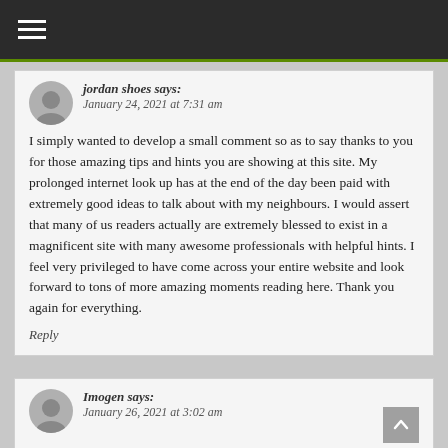☰
jordan shoes says:
January 24, 2021 at 7:31 am
I simply wanted to develop a small comment so as to say thanks to you for those amazing tips and hints you are showing at this site. My prolonged internet look up has at the end of the day been paid with extremely good ideas to talk about with my neighbours. I would assert that many of us readers actually are extremely blessed to exist in a magnificent site with many awesome professionals with helpful hints. I feel very privileged to have come across your entire website and look forward to tons of more amazing moments reading here. Thank you again for everything.
Reply
Imogen says:
January 26, 2021 at 3:02 am